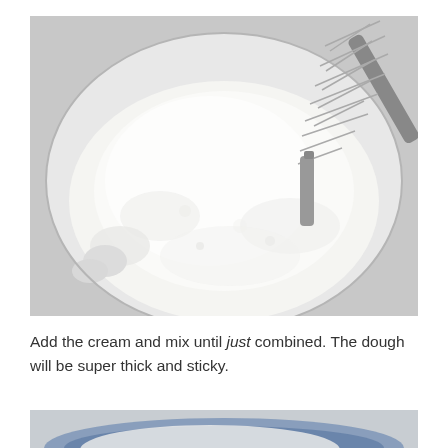[Figure (photo): Overhead view of a glass bowl filled with white flour with a metal whisk resting in it, viewed from above on a light background.]
Add the cream and mix until just combined. The dough will be super thick and sticky.
[Figure (photo): Partial view of the top of another food preparation photo showing what appears to be a bowl with dough or mixture, partially cropped at the bottom of the page.]